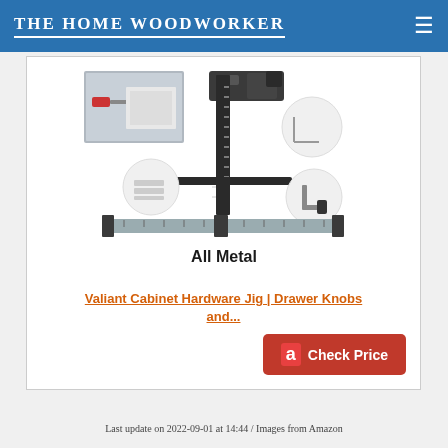THE HOME WOODWORKER
[Figure (photo): Product photo of an all-metal cabinet hardware jig with ruler base, vertical column, adjustable arms, and accessories including hex keys. Labeled 'All Metal'. Small inset photo shows the jig being used to drill into cabinet hardware.]
Valiant Cabinet Hardware Jig | Drawer Knobs and...
Check Price
Last update on 2022-09-01 at 14:44 / Images from Amazon